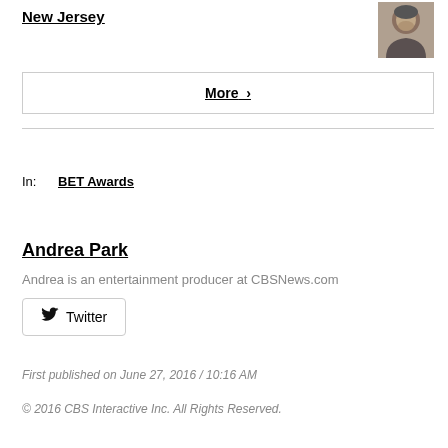New Jersey
[Figure (photo): Photo of a man looking downward, small thumbnail in top right corner]
More  ›
In:   BET Awards
Andrea Park
Andrea is an entertainment producer at CBSNews.com
Twitter
First published on June 27, 2016 / 10:16 AM
© 2016 CBS Interactive Inc. All Rights Reserved.